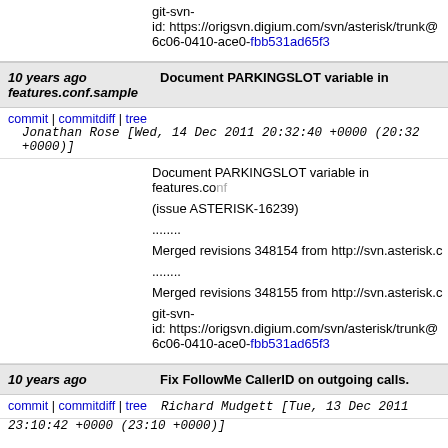git-svn-id: https://origsvn.digium.com/svn/asterisk/trunk@6c06-0410-ace0-fbb531ad65f3
10 years ago    Document PARKINGSLOT variable in features.conf.sample
commit | commitdiff | tree    Jonathan Rose [Wed, 14 Dec 2011 20:32:40 +0000 (20:32 +0000)]
Document PARKINGSLOT variable in features.conf

(issue ASTERISK-16239)
........

Merged revisions 348154 from http://svn.asterisk.c
........

Merged revisions 348155 from http://svn.asterisk.c

git-svn-id: https://origsvn.digium.com/svn/asterisk/trunk@6c06-0410-ace0-fbb531ad65f3
10 years ago    Fix FollowMe CallerID on outgoing calls.
commit | commitdiff | tree    Richard Mudgett [Tue, 13 Dec 2011 23:10:42 +0000 (23:10 +0000)]